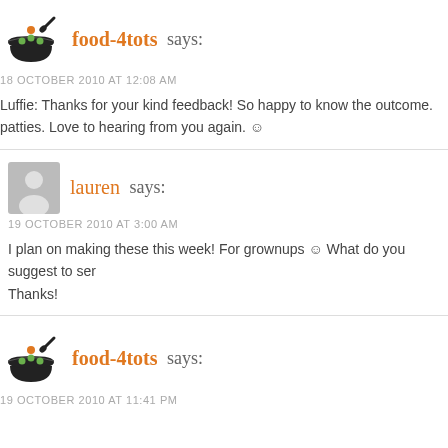[Figure (logo): food-4tots bowl logo with orange and green dots]
food-4tots says:
18 OCTOBER 2010 AT 12:08 AM
Luffie: Thanks for your kind feedback! So happy to know the outcome. patties. Love to hearing from you again. 🙂
[Figure (illustration): generic grey user avatar silhouette]
lauren says:
19 OCTOBER 2010 AT 3:00 AM
I plan on making these this week! For grownups 🙂 What do you suggest to ser Thanks!
[Figure (logo): food-4tots bowl logo with orange and green dots]
food-4tots says:
19 OCTOBER 2010 AT 11:41 PM